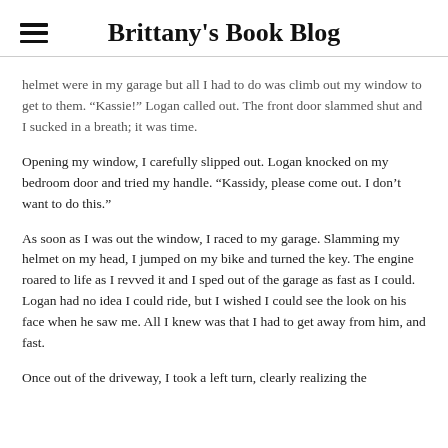Brittany's Book Blog
helmet were in my garage but all I had to do was climb out my window to get to them. “Kassie!” Logan called out. The front door slammed shut and I sucked in a breath; it was time.
Opening my window, I carefully slipped out. Logan knocked on my bedroom door and tried my handle. “Kassidy, please come out. I don’t want to do this.”
As soon as I was out the window, I raced to my garage. Slamming my helmet on my head, I jumped on my bike and turned the key. The engine roared to life as I revved it and I sped out of the garage as fast as I could. Logan had no idea I could ride, but I wished I could see the look on his face when he saw me. All I knew was that I had to get away from him, and fast.
Once out of the driveway, I took a left turn, clearly realizing the